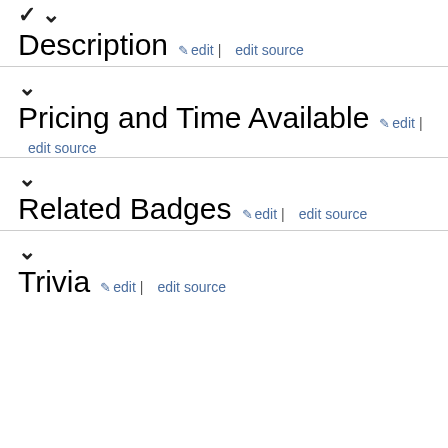Description
Pricing and Time Available
Related Badges
Trivia